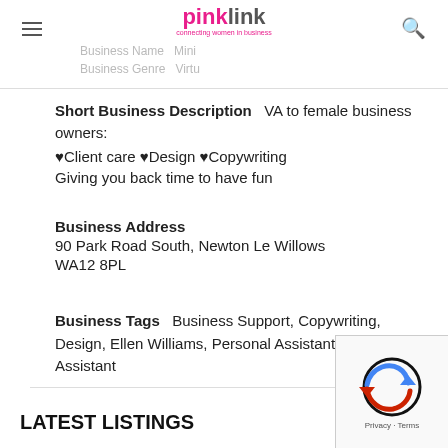Business Name  Mini  |  Business Genre  Virtu
Short Business Description  VA to female business owners:
♥Client care ♥Design ♥Copywriting
Giving you back time to have fun
Business Address
90 Park Road South, Newton Le Willows
WA12 8PL
Business Tags  Business Support, Copywriting, Design, Ellen Williams, Personal Assistant, Virtual Assistant
LATEST LISTINGS
[Figure (other): reCAPTCHA widget overlay in bottom-right corner with Privacy and Terms links]